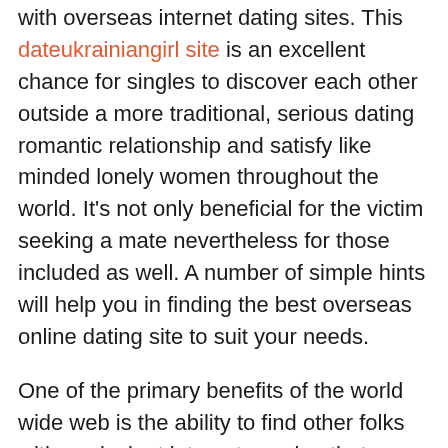with overseas internet dating sites. This dateukrainiangirl site is an excellent chance for singles to discover each other outside a more traditional, serious dating romantic relationship and satisfy like minded lonely women throughout the world. It's not only beneficial for the victim seeking a mate nevertheless for those included as well. A number of simple hints will help you in finding the best overseas online dating site to suit your needs.
One of the primary benefits of the world wide web is the ability to find other folks with equivalent interests seeing that yourself. Achieving like minded persons while using